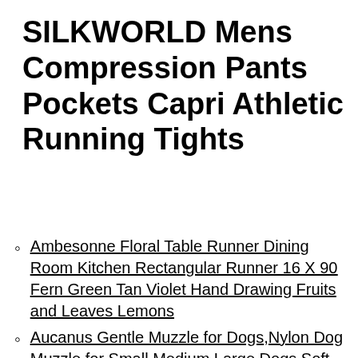SILKWORLD Mens Compression Pants Pockets Capri Athletic Running Tights
Ambesonne Floral Table Runner Dining Room Kitchen Rectangular Runner 16 X 90 Fern Green Tan Violet Hand Drawing Fruits and Leaves Lemons
Aucanus Gentle Muzzle for Dogs,Nylon Dog Muzzle for Small,Medium,Large Dogs Soft Neoprene Padding–Anti-Shedding,Prevent